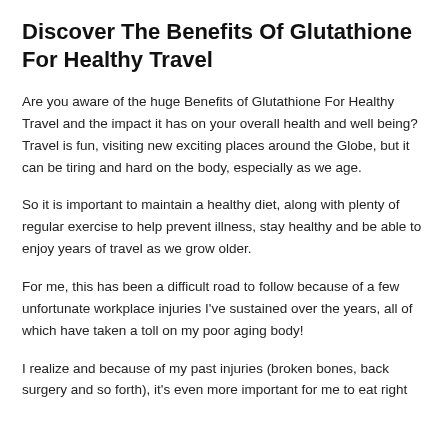Discover The Benefits Of Glutathione For Healthy Travel
Are you aware of the huge Benefits of Glutathione For Healthy Travel and the impact it has on your overall health and well being? Travel is fun, visiting new exciting places around the Globe, but it can be tiring and hard on the body, especially as we age.
So it is important to maintain a healthy diet, along with plenty of regular exercise to help prevent illness, stay healthy and be able to enjoy years of travel as we grow older.
For me, this has been a difficult road to follow because of a few unfortunate workplace injuries I've sustained over the years, all of which have taken a toll on my poor aging body!
I realize and because of my past injuries (broken bones, back surgery and so forth), it's even more important for me to eat right